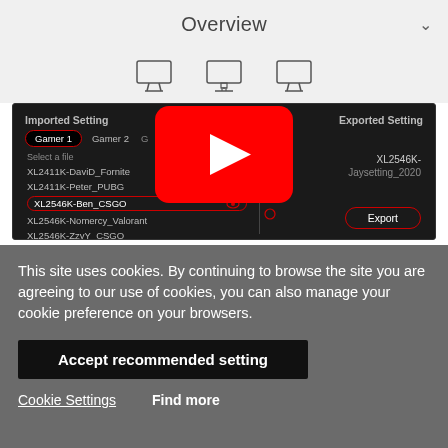Overview
[Figure (screenshot): BenQ software screenshot showing Imported Setting panel with gamer tabs (Gamer 1, Gamer 2) and file list (XL2411K-DaviD_Fornite, XL2411K-Peter_PUBG, XL2546K-Ben_CSGO selected, XL2546K-Nomercy_Valorant, XL2546K-ZzyY_CSGO), Exported Setting panel showing XL2546K- / Jaysetting_2020, with Export button, and a YouTube play button overlay in the center]
This site uses cookies. By continuing to browse the site you are agreeing to our use of cookies, you can also manage your cookie preference on your browsers.
Accept recommended setting
Cookie Settings
Find more